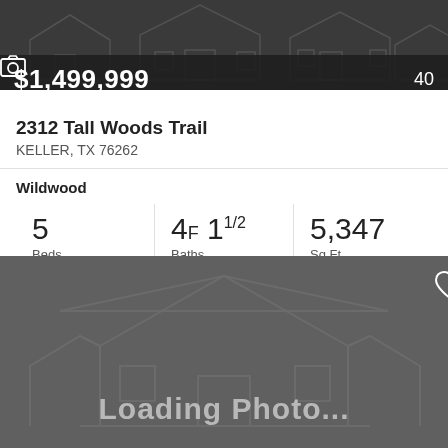[Figure (photo): Top dark grey banner with faint outline of a house/building in lighter grey lines]
$1,499,999
40 📷
2312 Tall Woods Trail
KELLER, TX 76262
Wildwood
5 Beds
4F 1 1/2 Baths
5,347 Sq.Ft.
MLS #: 20130172
[Figure (photo): Dark grey loading photo placeholder with faint house outline and 'Loading Photo...' text in large grey letters, heart/favorite icon in top right corner]